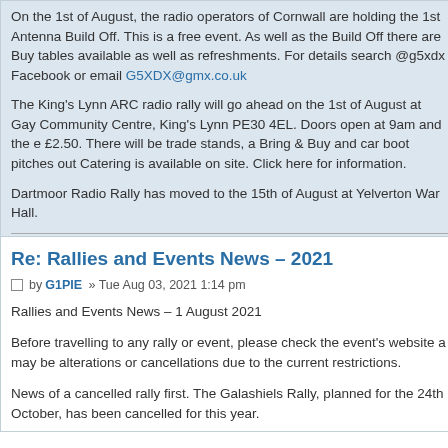On the 1st of August, the radio operators of Cornwall are holding the 1st Antenna Build Off. This is a free event. As well as the Build Off there are Buy tables available as well as refreshments. For details search @g5xdx Facebook or email G5XDX@gmx.co.uk
The King's Lynn ARC radio rally will go ahead on the 1st of August at Gay Community Centre, King's Lynn PE30 4EL. Doors open at 9am and the e £2.50. There will be trade stands, a Bring & Buy and car boot pitches out Catering is available on site. Click here for information.
Dartmoor Radio Rally has moved to the 15th of August at Yelverton War Hall.
RSGB,RAOTA,WAB, DMC, EPC.
Re: Rallies and Events News – 2021
by G1PIE » Tue Aug 03, 2021 1:14 pm
Rallies and Events News – 1 August 2021
Before travelling to any rally or event, please check the event's website a may be alterations or cancellations due to the current restrictions.
News of a cancelled rally first. The Galashiels Rally, planned for the 24th October, has been cancelled for this year.